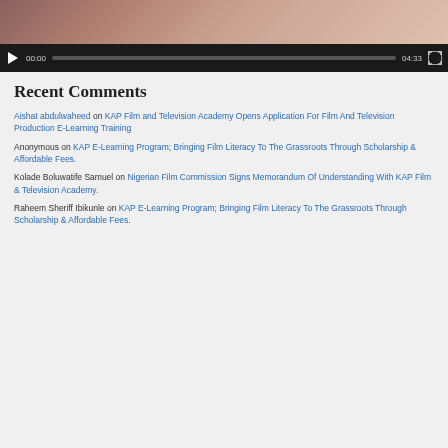[Figure (screenshot): Video player with thumbnail showing a person in a pink shirt, with playback controls showing 00:00 / 04:33 and a fullscreen button]
Recent Comments
Aishat abdulwaheed on KAP Film and Television Academy Opens Application For Film And Television Production E-Learning Training
Anonymous on KAP E-Learning Program; Bringing Film Literacy To The Grassroots Through Scholarship & Affordable Fees.
Kolade Boluwatife Samuel on Nigerian Film Commission Signs Memorandum Of Understanding With KAP Film & Television Academy.
Raheem Sheriff Ibikunle on KAP E-Learning Program; Bringing Film Literacy To The Grassroots Through Scholarship & Affordable Fees.